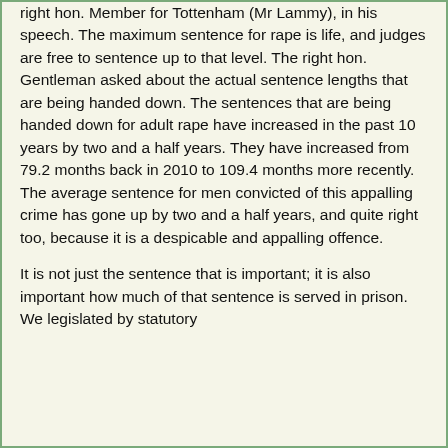right hon. Member for Tottenham (Mr Lammy), in his speech. The maximum sentence for rape is life, and judges are free to sentence up to that level. The right hon. Gentleman asked about the actual sentence lengths that are being handed down. The sentences that are being handed down for adult rape have increased in the past 10 years by two and a half years. They have increased from 79.2 months back in 2010 to 109.4 months more recently. The average sentence for men convicted of this appalling crime has gone up by two and a half years, and quite right too, because it is a despicable and appalling offence.
It is not just the sentence that is important; it is also important how much of that sentence is served in prison. We legislated by statutory